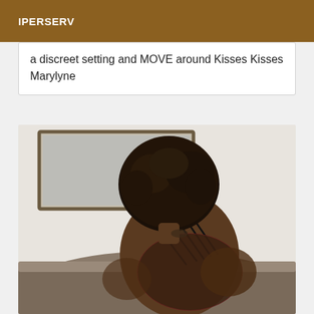IPERSERV
a discreet setting and MOVE around Kisses Kisses Marylyne
[Figure (photo): A person with curly afro hair seen from behind, wearing a black strappy lace bodysuit, seated on a couch with a mirror on the wall in the background.]